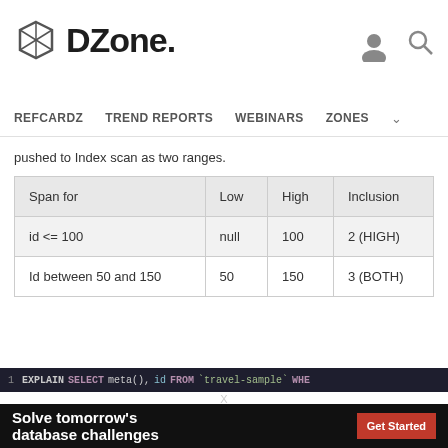DZone.
REFCARDZ   TREND REPORTS   WEBINARS   ZONES
pushed to Index scan as two ranges.
| Span for | Low | High | Inclusion |
| --- | --- | --- | --- |
| id <= 100 | null | 100 | 2 (HIGH) |
| Id between 50 and 150 | 50 | 150 | 3 (BOTH) |
1  EXPLAIN SELECT meta(), id FROM `travel-sample` WHE
Solve tomorrow's database challenges
Millisecond response from multimodel data services, at scale